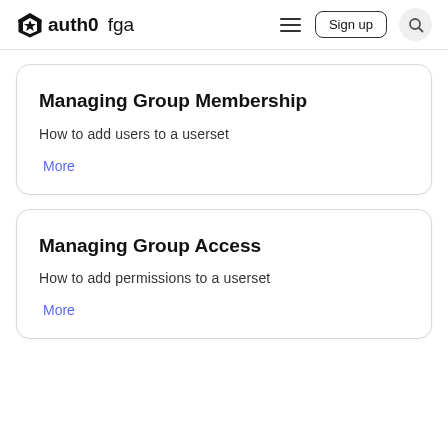auth0 fga — Sign up
Managing Group Membership
How to add users to a userset
More
Managing Group Access
How to add permissions to a userset
More